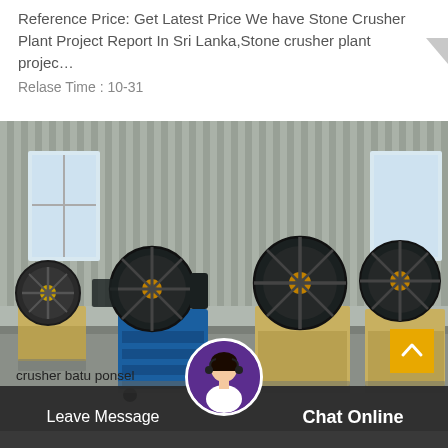Reference Price: Get Latest Price We have Stone Crusher Plant Project Report In Sri Lanka,Stone crusher plant projec…
Relase Time : 10-31
[Figure (photo): Industrial warehouse with multiple jaw crusher machines. Machines are painted blue and tan/beige. Large flywheels visible. Concrete floor, corrugated metal wall background.]
crusher batu ponsel per jam
Leave Message
Chat Online